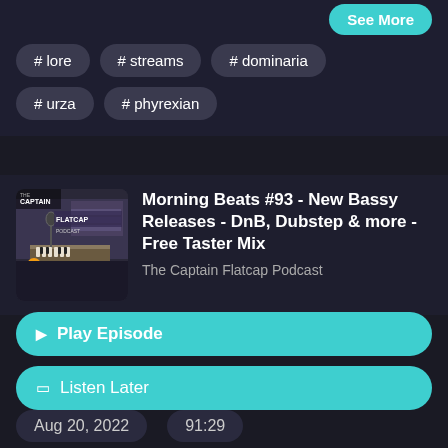See More
# lore
# streams
# dominaria
# urza
# phyrexian
[Figure (photo): Podcast thumbnail for The Captain Flatcap Podcast showing a recording studio interior with instruments]
Morning Beats #93 - New Bassy Releases - DnB, Dubstep & more - Free Taster Mix
The Captain Flatcap Podcast
▶ Play Episode
Listen Later
Aug 20, 2022
91:29